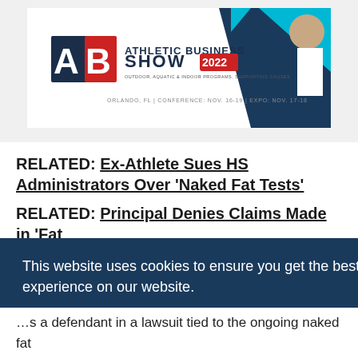[Figure (advertisement): Athletic Business Show 2022 advertisement banner. Logo with 'AB' in red/dark blue, text 'ATHLETIC BUSINESS SHOW 2022', 'ORLANDO, FL | CONFERENCE: NOV. 16-19 | EXPO: NOV. 17-18'. Person in white uniform visible on right side with blue geometric shapes.]
RELATED: Ex-Athlete Sues HS Administrators Over 'Naked Fat Tests'
RELATED: Principal Denies Claims Made in 'Fat ...
This website uses cookies to ensure you get the best experience on our website.
Learn more
Got it!
...s a defendant in a lawsuit tied to the ongoing naked fat